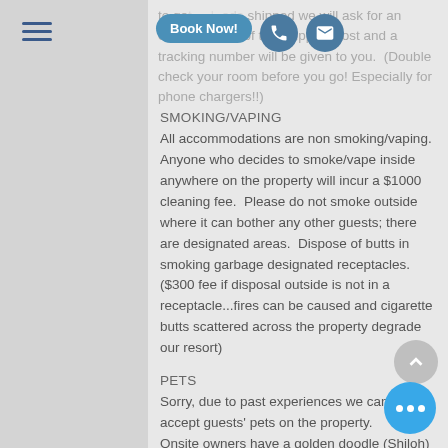to get ... shipped we will ask for an email transfer of the shipping cost and a tracking number will be given to you. (Double check your room before you go! Especially for phone chargers!!)
SMOKING/VAPING
All accommodations are non smoking/vaping. Anyone who decides to smoke/vape inside anywhere on the property will incur a $1000 cleaning fee. Please do not smoke outside where it can bother any other guests; there are designated areas. Dispose of butts in smoking garbage designated receptacles. ($300 fee if disposal outside is not in a receptacle...fires can be caused and cigarette butts scattered across the property degrade our resort)
PETS
Sorry, due to past experiences we cannot accept guests' pets on the property. Onsite owners have a golden doodle (Shiloh) who lives onsite.
NOISE
Please keep noise levels down after 10PM to